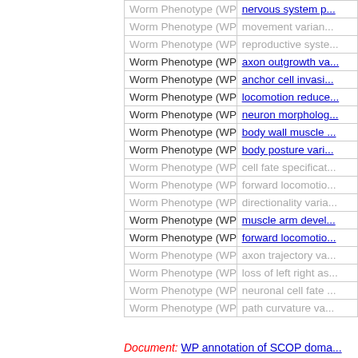| Type | Term |
| --- | --- |
| Worm Phenotype (WP) | nervous system ... |
| Worm Phenotype (WP) | movement varian... |
| Worm Phenotype (WP) | reproductive syste... |
| Worm Phenotype (WP) | axon outgrowth va... |
| Worm Phenotype (WP) | anchor cell invasi... |
| Worm Phenotype (WP) | locomotion reduce... |
| Worm Phenotype (WP) | neuron morpholog... |
| Worm Phenotype (WP) | body wall muscle ... |
| Worm Phenotype (WP) | body posture vari... |
| Worm Phenotype (WP) | cell fate specificat... |
| Worm Phenotype (WP) | forward locomotio... |
| Worm Phenotype (WP) | directionality varia... |
| Worm Phenotype (WP) | muscle arm devel... |
| Worm Phenotype (WP) | forward locomotio... |
| Worm Phenotype (WP) | axon trajectory va... |
| Worm Phenotype (WP) | loss of left right as... |
| Worm Phenotype (WP) | neuronal cell fate ... |
| Worm Phenotype (WP) | path curvature va... |
Document: WP annotation of SCOP doma...